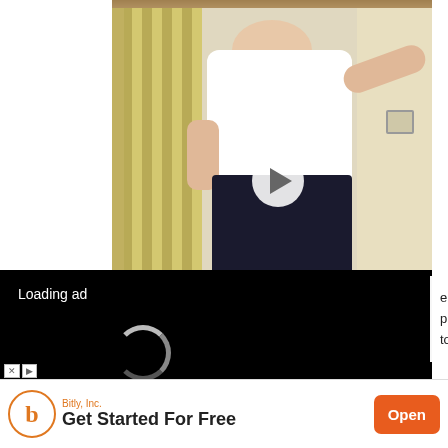[Figure (photo): A person wearing a white tank top and dark pants, standing in front of a yellow-striped curtain and a door, with a play button overlay in the center of the image.]
[Figure (screenshot): Loading ad overlay: black video player with 'Loading ad' text, a circular spinner, and media controls (pause, expand, mute) at the bottom.]
e you the most your preferences and you consent to the use y visit "Cookie sent.
[Figure (screenshot): Bottom banner advertisement: Bitly, Inc. logo with text 'Get Started For Free' and an orange 'Open' button.]